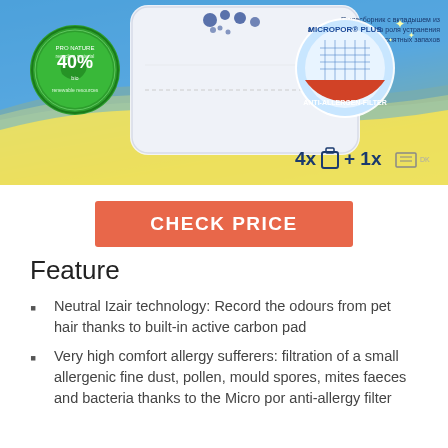[Figure (photo): Product image of a vacuum cleaner bag with Pro Nature badge showing 40% bio and Micropor Plus Anti-Allergen-Filter badge, on a blue and yellow background. Shows 4x bags + 1x filter contents.]
CHECK PRICE
Feature
Neutral Izair technology: Record the odours from pet hair thanks to built-in active carbon pad
Very high comfort allergy sufferers: filtration of a small allergenic fine dust, pollen, mould spores, mites faeces and bacteria thanks to the Micro por anti-allergy filter